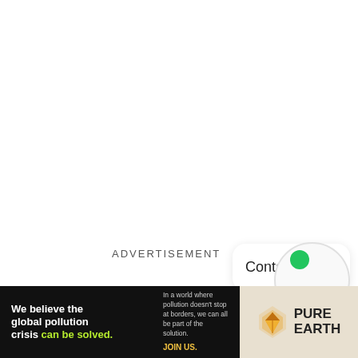ADVERTISEMENT
Contact Us
[Figure (illustration): Green circle dot over a light gray outlined circle, decorative UI element]
[Figure (illustration): Advertisement banner for Pure Earth: black left panel with text 'We believe the global pollution crisis can be solved.' and 'In a world where pollution doesn't stop at borders, we can all be part of the solution. JOIN US.' Right panel shows Pure Earth logo with diamond/layered icon and bold text 'PURE EARTH']